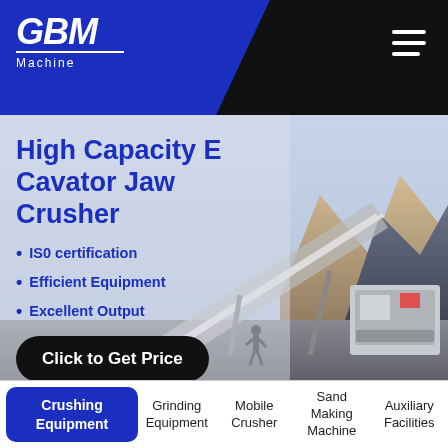[Figure (logo): GBM Machine company logo in white italic text on blue background with white underline]
High Capacity E Cavator Jaw Crusher
IS0 certification
Efficient Equipment
Excellent Output
Click to Get Price
[Figure (photo): Mining/crushing equipment facility with conveyor belts and jaw crusher machinery against a mountain backdrop]
Crushing Equipment
Grinding Equipment
Mobile Crusher
Sand Making Machine
Auxiliary Facilities